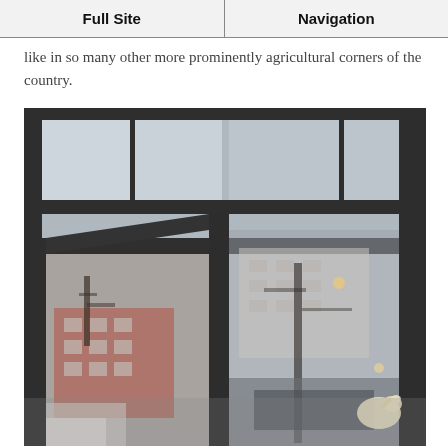Full Site | Navigation
like in so many other more prominently agricultural corners of the country.
[Figure (photo): Close-up exterior shot of a storefront with dark metal-framed windows and glass door, reflecting a red brick building, bare trees, parked vehicles, and a street scene. A small white goose/swan logo is visible in the lower right corner of the glass.]